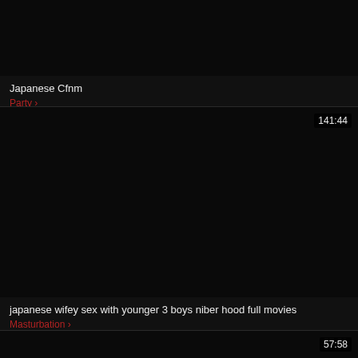[Figure (screenshot): Dark/black video thumbnail for first card]
Japanese Cfnm
Party >
[Figure (screenshot): Dark/black video thumbnail for second card with duration badge 141:44]
japanese wifey sex with younger 3 boys niber hood full movies
Masturbation >
[Figure (screenshot): Dark/black video thumbnail for third card with duration badge 57:58]